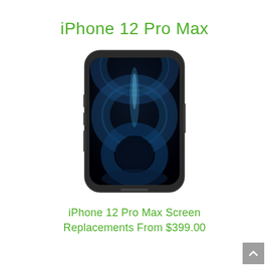iPhone 12 Pro Max
[Figure (photo): iPhone 12 Pro Max smartphone shown front-facing with dark blue/teal circular wallpaper design on screen, dark frame]
iPhone 12 Pro Max Screen Replacements From $399.00